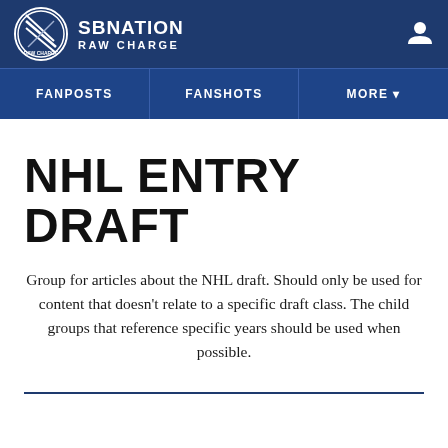SBNATION RAW CHARGE
FANPOSTS | FANSHOTS | MORE
NHL ENTRY DRAFT
Group for articles about the NHL draft. Should only be used for content that doesn't relate to a specific draft class. The child groups that reference specific years should be used when possible.